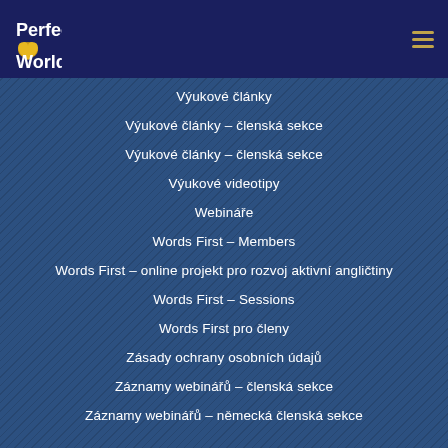Perfect World
Výukové články
Výukové články – členská sekce
Výukové články – členská sekce
Výukové videotipy
Webináře
Words First – Members
Words First – online projekt pro rozvoj aktivní angličtiny
Words First – Sessions
Words First pro členy
Zásady ochrany osobních údajů
Záznamy webinářů – členská sekce
Záznamy webinářů – německá členská sekce